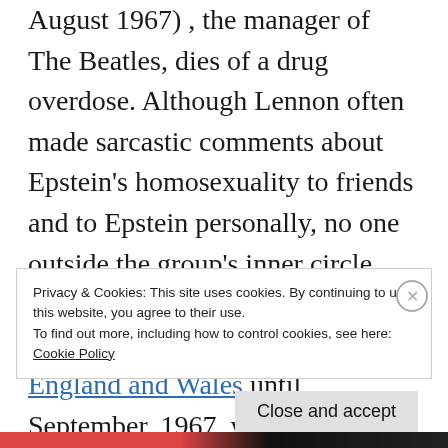August 1967) , the manager of The Beatles, dies of a drug overdose. Although Lennon often made sarcastic comments about Epstein's homosexuality to friends and to Epstein personally, no one outside the group's inner circle was allowed to comment. Male homosexual activity was illegal in England and Wales until September, 1967, when it was decriminalized; however, this was one month after Epstein's death.
Privacy & Cookies: This site uses cookies. By continuing to use this website, you agree to their use.
To find out more, including how to control cookies, see here:
Cookie Policy